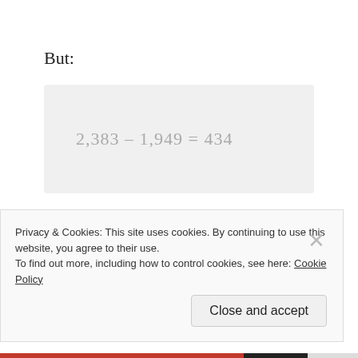But:
So, Clinton will still need to scrape up 434 delegates somewhere other than California, some how. Which means — Hold on, first we
Privacy & Cookies: This site uses cookies. By continuing to use this website, you agree to their use.
To find out more, including how to control cookies, see here: Cookie Policy
Close and accept